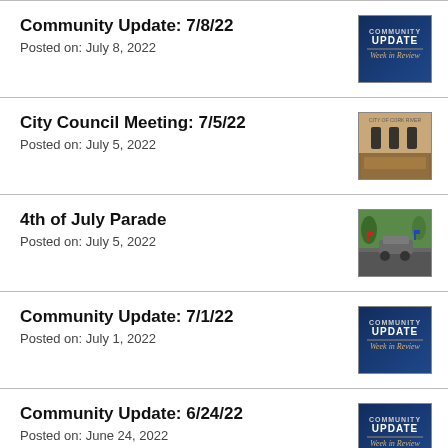Community Update: 7/8/22
Posted on: July 8, 2022
City Council Meeting: 7/5/22
Posted on: July 5, 2022
4th of July Parade
Posted on: July 5, 2022
Community Update: 7/1/22
Posted on: July 1, 2022
Community Update: 6/24/22
Posted on: June 24, 2022
City Council Meeting: 6/21/22